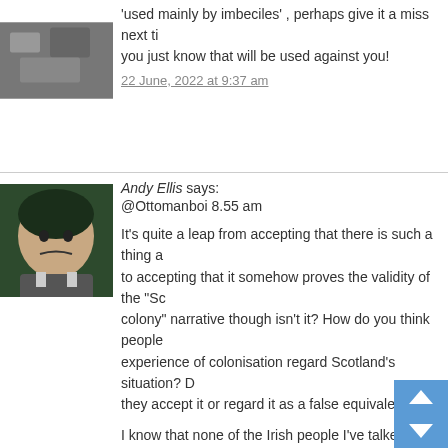'used mainly by imbeciles' , perhaps give it a miss next time you just know that will be used against you!
22 June, 2022 at 9:37 am
Andy Ellis says:
@Ottomanboi 8.55 am
It's quite a leap from accepting that there is such a thing as to accepting that it somehow proves the validity of the "Sc colony" narrative though isn't it? How do you think people experience of colonisation regard Scotland's situation? D they accept it or regard it as a false equivalence?
I know that none of the Irish people I've talked to accept t Scotland was colonised in the same sense that Ireland wa has also pointedly not accepted that Scotland's case is o colonisation. Folk are of course free to disagree with tha Fanon, Memmi and Césaire to their hearts content, but it mean their proposition is correct or accepted by the indep movement or Scottish voters as a whole.
Having the colonisation narrative accepted would door to the use of the novel routes to achieving in